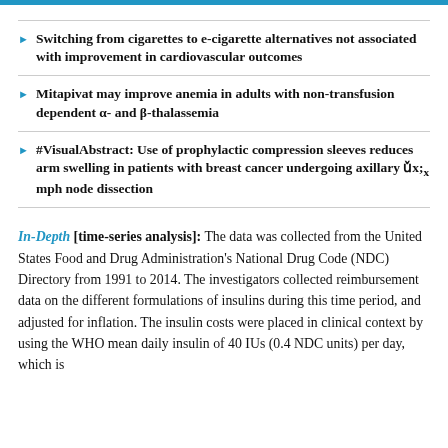Switching from cigarettes to e-cigarette alternatives not associated with improvement in cardiovascular outcomes
Mitapivat may improve anemia in adults with non-transfusion dependent α- and β-thalassemia
#VisualAbstract: Use of prophylactic compression sleeves reduces arm swelling in patients with breast cancer undergoing axillary lymph node dissection
In-Depth [time-series analysis]: The data was collected from the United States Food and Drug Administration's National Drug Code (NDC) Directory from 1991 to 2014. The investigators collected reimbursement data on the different formulations of insulins during this time period, and adjusted for inflation. The insulin costs were placed in clinical context by using the WHO mean daily insulin of 40 IUs (0.4 NDC units) per day, which is